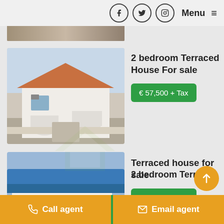Menu
[Figure (photo): Partial view of a property photo at top of page]
2 bedroom Terraced House For sale
€ 57,500 + Tax
[Figure (photo): Photo of white terraced house with arched doorway and tiled gate]
Terraced house for sale
€ 51,500 + Tax
[Figure (photo): Photo of second white terraced house with arched entrance]
2 bedroom Terrac...
Call agent
Email agent